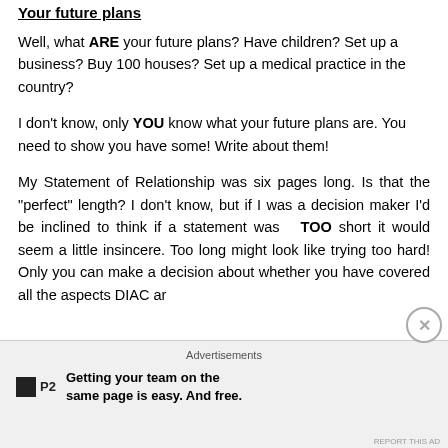Your future plans
Well, what ARE your future plans?  Have children? Set up a business? Buy 100 houses?  Set up a medical practice in the country?
I don't know, only YOU know what your future plans are.  You need to show you have some!  Write about them!
My Statement of Relationship was six pages long.  Is that the “perfect” length?  I don’t know, but if I was a decision maker I’d be inclined to think if a statement was  TOO short it would seem a little insincere.  Too long might look like trying too hard! Only you can make a decision about whether you have covered all the aspects DIAC are
Advertisements
Getting your team on the same page is easy. And free.